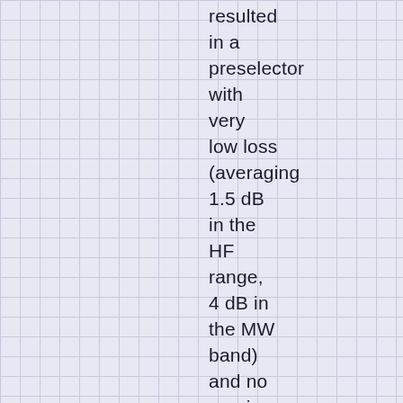resulted in a preselector with very low loss (averaging 1.5 dB in the HF range, 4 dB in the MW band) and no spurious outputs, since there is no amplifier required to overcome insertion